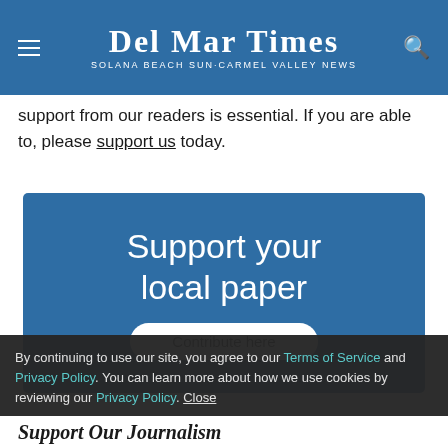Del Mar Times — Solana Beach Sun·Carmel Valley News
support from our readers is essential. If you are able to, please support us today.
[Figure (infographic): Blue banner advertisement reading 'Support your local paper' with a white 'Contribute here' button]
By continuing to use our site, you agree to our Terms of Service and Privacy Policy. You can learn more about how we use cookies by reviewing our Privacy Policy. Close
Support Our Journalism